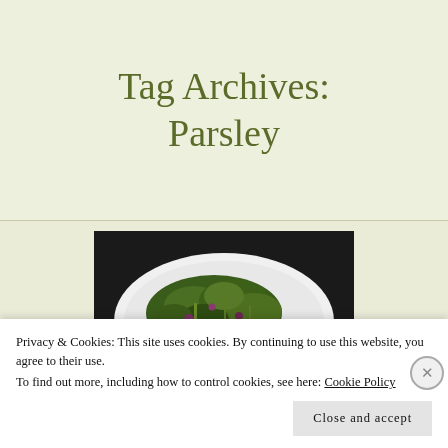Tag Archives: Parsley
[Figure (photo): A white plate with cooked greens (kale or broccoli rabe) and sliced pink meat on a dark background.]
Privacy & Cookies: This site uses cookies. By continuing to use this website, you agree to their use.
To find out more, including how to control cookies, see here: Cookie Policy
Close and accept